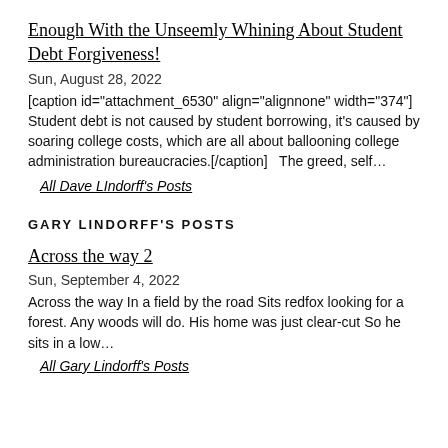Enough With the Unseemly Whining About Student Debt Forgiveness!
Sun, August 28, 2022
[caption id="attachment_6530" align="alignnone" width="374"] Student debt is not caused by student borrowing, it's caused by soaring college costs, which are all about ballooning college administration bureaucracies.[/caption]   The greed, self…
All Dave LIndorff's Posts
GARY LINDORFF'S POSTS
Across the way 2
Sun, September 4, 2022
Across the way In a field by the road Sits redfox looking for a forest. Any woods will do. His home was just clear-cut So he sits in a low…
All Gary Lindorff's Posts